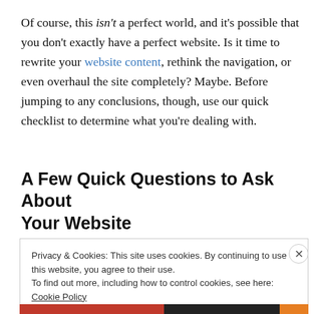Of course, this isn't a perfect world, and it's possible that you don't exactly have a perfect website. Is it time to rewrite your website content, rethink the navigation, or even overhaul the site completely? Maybe. Before jumping to any conclusions, though, use our quick checklist to determine what you're dealing with.
A Few Quick Questions to Ask About Your Website
Privacy & Cookies: This site uses cookies. By continuing to use this website, you agree to their use.
To find out more, including how to control cookies, see here: Cookie Policy